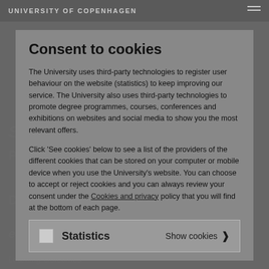UNIVERSITY OF COPENHAGEN
Consent to cookies
The University uses third-party technologies to register user behaviour on the website (statistics) to keep improving our service. The University also uses third-party technologies to promote degree programmes, courses, conferences and exhibitions on websites and social media to show you the most relevant offers.
Click 'See cookies' below to see a list of the providers of the different cookies that can be stored on your computer or mobile device when you use the University's website. You can choose to accept or reject cookies and you can always review your consent under the Cookies and privacy policy that you will find at the bottom of each page.
Statistics   Show cookies